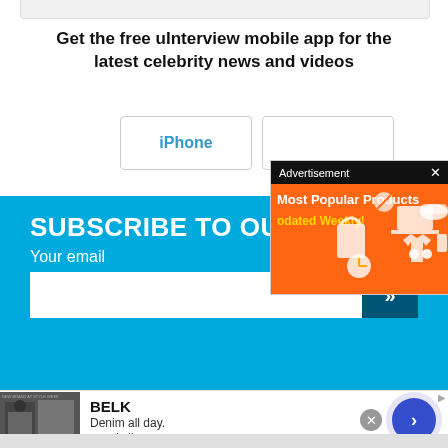Get the free uInterview mobile app for the latest celebrity news and videos
iPhone
SUBSCRIBE TO OU
Your email
[Figure (screenshot): Advertisement popup overlay showing 'Most Popular Products Updated Weekly!' on an orange background with shopping icons]
[Figure (infographic): Bottom advertisement banner for BELK showing 'Denim all day. www.belk.com' with clothing image and a circular arrow button]